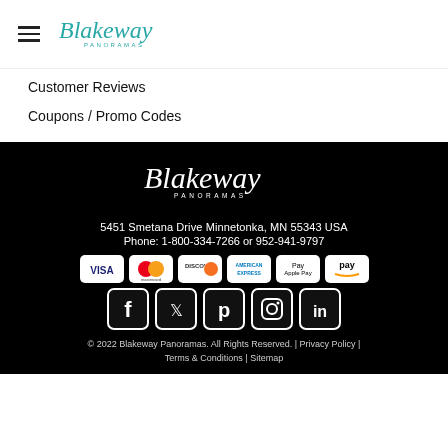[Figure (logo): Blakeway Panoramas logo in header]
Customer Reviews
Coupons / Promo Codes
[Figure (logo): Blakeway Panoramas white logo on black background]
5451 Smetana Drive Minnetonka, MN 55343 USA
Phone: 1-800-334-7266 or 952-941-9797
[Figure (infographic): Payment method icons: Visa, Mastercard, Discover, American Express, Apple Pay, Amazon Pay]
[Figure (infographic): Social media icons: Facebook, Twitter, Pinterest, Instagram, LinkedIn]
© 2022 Blakeway Panoramas. All Rights Reserved. | Privacy Policy | Terms & Conditions | Sitemap